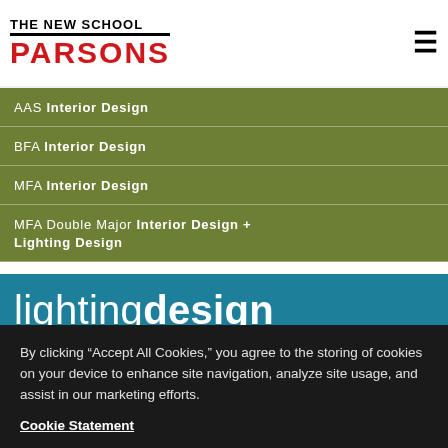THE NEW SCHOOL PARSONS
AAS Interior Design
BFA Interior Design
MFA Interior Design
MFA Double Major Interior Design + Lighting Design
lightingdesign
MFA Lighting Design
MFA / M.Arch Dual Degree Lighting Design + Architecture
MFA Double Major Lighting Design +
By clicking “Accept All Cookies,” you agree to the storing of cookies on your device to enhance site navigation, analyze site usage, and assist in our marketing efforts.
Cookie Statement